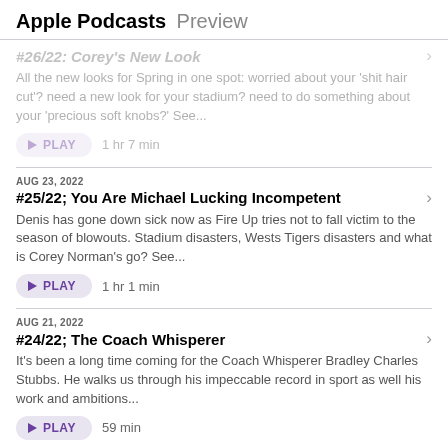Apple Podcasts Preview
#26/22: Corey's New Look
All the new looks for Spring in one spot: worried about your 'shit hair cut'? need a new look for your stadium? need to do something about your 'precious soft knobs?' See...
PLAY  1 hr 7 min
AUG 23, 2022
#25/22; You Are Michael Lucking Incompetent
Denis has gone down sick now as Fire Up tries not to fall victim to the season of blowouts. Stadium disasters, Wests Tigers disasters and what is Corey Norman's go? See...
PLAY  1 hr 1 min
AUG 21, 2022
#24/22; The Coach Whisperer
It's been a long time coming for the Coach Whisperer Bradley Charles Stubbs. He walks us through his impeccable record in sport as well his work and ambitions...
PLAY  59 min